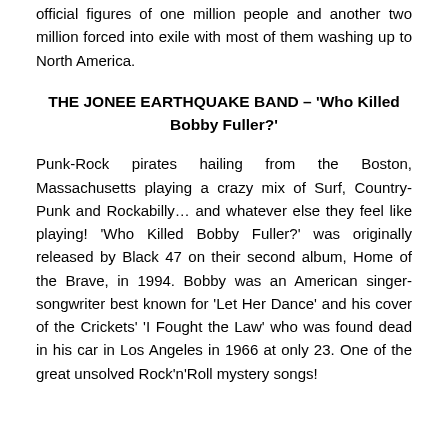official figures of one million people and another two million forced into exile with most of them washing up to North America.
THE JONEE EARTHQUAKE BAND – 'Who Killed Bobby Fuller?'
Punk-Rock pirates hailing from the Boston, Massachusetts playing a crazy mix of Surf, Country-Punk and Rockabilly… and whatever else they feel like playing! 'Who Killed Bobby Fuller?' was originally released by Black 47 on their second album, Home of the Brave, in 1994. Bobby was an American singer-songwriter best known for 'Let Her Dance' and his cover of the Crickets' 'I Fought the Law' who was found dead in his car in Los Angeles in 1966 at only 23. One of the great unsolved Rock'n'Roll mystery songs!